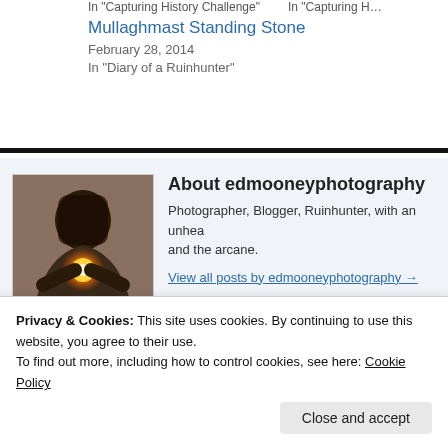In "Capturing History Challenge"
Mullaghmast Standing Stone
February 28, 2014
In "Diary of a Ruinhunter"
About edmooneyphotography
Photographer, Blogger, Ruinhunter, with an unheal… and the arcane.
View all posts by edmooneyphotography →
[Figure (photo): Profile photo of author holding glowing orb]
This entry was posted in Capturing History Challenge, Diary of a Ruinhunter a… Arsenal, Khymer, Kildare, Laos, Longstone, Monolith, Nikon, photographer, P… Travel, Wat Phou. Bookmark the permalink.
Privacy & Cookies: This site uses cookies. By continuing to use this website, you agree to their use.
To find out more, including how to control cookies, see here: Cookie Policy